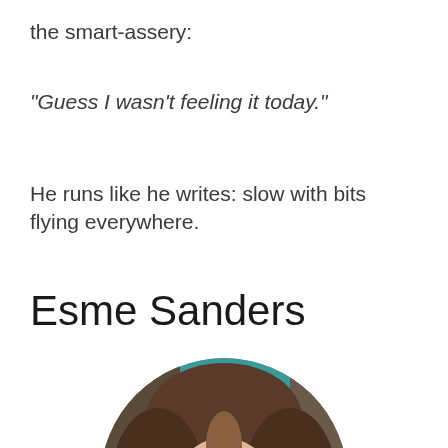the smart-assery:
“Guess I wasn’t feeling it today.”
He runs like he writes: slow with bits flying everywhere.
Esme Sanders
[Figure (photo): Circular portrait photo of a person with long brown hair, visible from forehead to chin, with a teal/blue background element visible at top.]